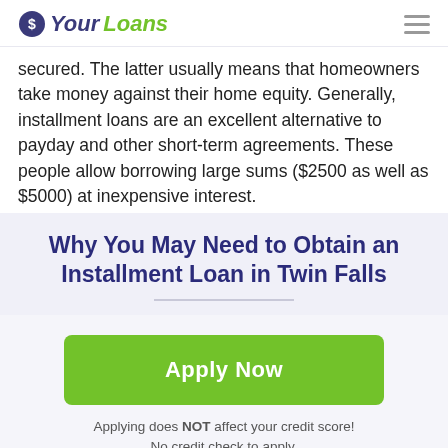YourLoans
secured. The latter usually means that homeowners take money against their home equity. Generally, installment loans are an excellent alternative to payday and other short-term agreements. These people allow borrowing large sums ($2500 as well as $5000) at inexpensive interest.
Why You May Need to Obtain an Installment Loan in Twin Falls
Apply Now
Applying does NOT affect your credit score! No credit check to apply.